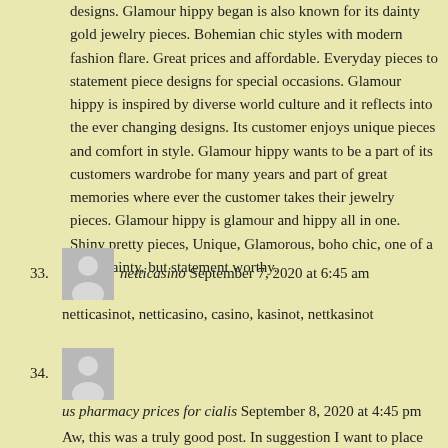designs. Glamour hippy began is also known for its dainty gold jewelry pieces. Bohemian chic styles with modern fashion flare. Great prices and affordable. Everyday pieces to statement piece designs for special occasions. Glamour hippy is inspired by diverse world culture and it reflects into the ever changing designs. Its customer enjoys unique pieces and comfort in style. Glamour hippy wants to be a part of its customers wardrobe for many years and part of great memories where ever the customer takes their jewelry pieces. Glamour hippy is glamour and hippy all in one. Shiny pretty pieces, Unique, Glamorous, boho chic, one of a kind, dainty, but statement worthy.
33. netticasino September 7, 2020 at 6:45 am
netticasinot, netticasino, casino, kasinot, nettkasinot
34. us pharmacy prices for cialis September 8, 2020 at 4:45 pm
Aw, this was a truly good post. In suggestion I want to place in creating like this in addition? taking time and real initiative to make a very good short article? however what can I state? I